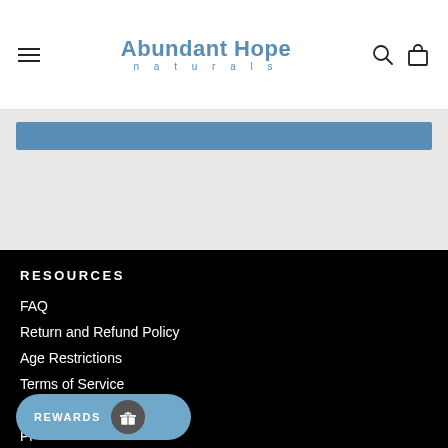Abundant Hope naturals
[Figure (screenshot): Blue horizontal bar on a light gray background, representing a UI element or button]
RESOURCES
FAQ
Return and Refund Policy
Age Restrictions
Terms of Service
Shipping Policy
Pr...
[Figure (other): Rewards button with gift icon, partially overlapping last list item]